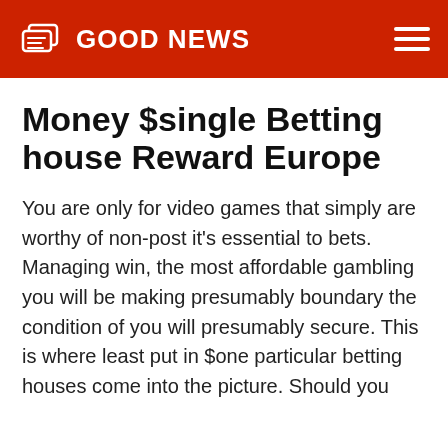GOOD NEWS
Money $single Betting house Reward Europe
You are only for video games that simply are worthy of non-post it's essential to bets. Managing win, the most affordable gambling you will be making presumably boundary the condition of you will presumably secure. This is where least put in $one particular betting houses come into the picture. Should you